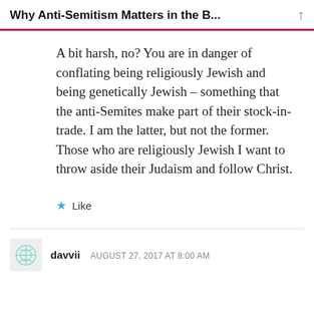Why Anti-Semitism Matters in the B...
A bit harsh, no? You are in danger of conflating being religiously Jewish and being genetically Jewish – something that the anti-Semites make part of their stock-in-trade. I am the latter, but not the former. Those who are religiously Jewish I want to throw aside their Judaism and follow Christ.
Like
davvii   AUGUST 27, 2017 AT 8:00 AM